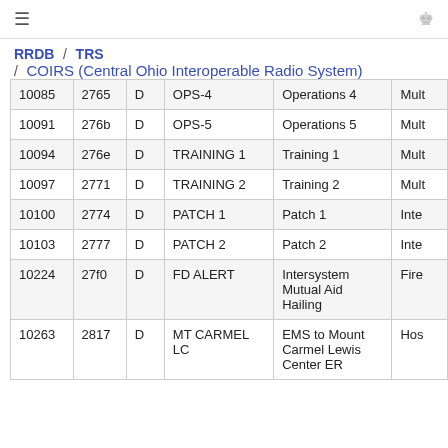≡  [user icon]
RRDB / TRS / COIRS (Central Ohio Interoperable Radio System)
| (dec) | (hex) | (mode) | (alpha tag) | (description) | (tag) |
| --- | --- | --- | --- | --- | --- |
| 10085 | 2765 | D | OPS-4 | Operations 4 | Mult |
| 10091 | 276b | D | OPS-5 | Operations 5 | Mult |
| 10094 | 276e | D | TRAINING 1 | Training 1 | Mult |
| 10097 | 2771 | D | TRAINING 2 | Training 2 | Mult |
| 10100 | 2774 | D | PATCH 1 | Patch 1 | Inte |
| 10103 | 2777 | D | PATCH 2 | Patch 2 | Inte |
| 10224 | 27f0 | D | FD ALERT | Intersystem Mutual Aid Hailing | Fire |
| 10263 | 2817 | D | MT CARMEL LC | EMS to Mount Carmel Lewis Center ER | Hos |